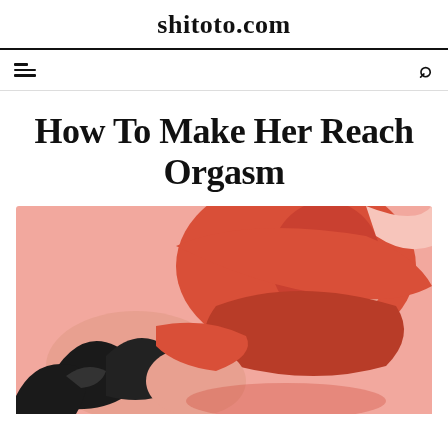shitoto.com
How To Make Her Reach Orgasm
[Figure (illustration): Vector illustration of two people in an intimate embrace on a pink background. A woman with long dark wavy hair is shown reclining, with a figure leaning over her rendered in deep coral/red tones.]